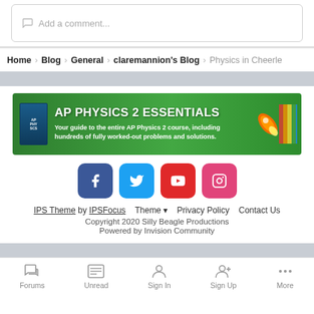Add a comment...
Home > Blog > General > claremannion's Blog > Physics in Cheerle
[Figure (infographic): AP Physics 2 Essentials advertisement banner with green background, book cover, rocket graphic, and text: AP PHYSICS 2 ESSENTIALS - Your guide to the entire AP Physics 2 course, including hundreds of fully worked-out problems and solutions.]
[Figure (infographic): Social media icons row: Facebook (blue), Twitter (light blue), YouTube (red), Instagram (pink)]
IPS Theme by IPSFocus   Theme ▾   Privacy Policy   Contact Us
Copyright 2020 Silly Beagle Productions
Powered by Invision Community
Forums   Unread   Sign In   Sign Up   More